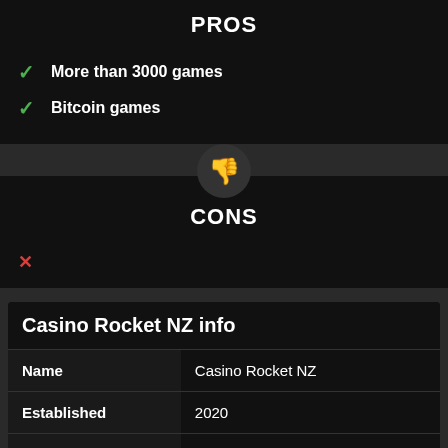PROS
More than 3000 games
Bitcoin games
CONS
Casino Rocket NZ info
| Name | Casino Rocket NZ |
| --- | --- |
| Established | 2020 |
| Location | Curacao |